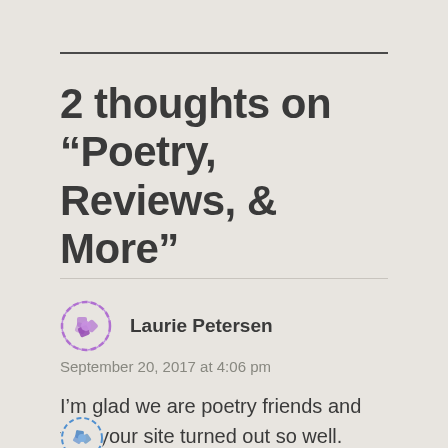2 thoughts on “Poetry, Reviews, & More”
Laurie Petersen
September 20, 2017 at 4:06 pm
I’m glad we are poetry friends and that your site turned out so well.